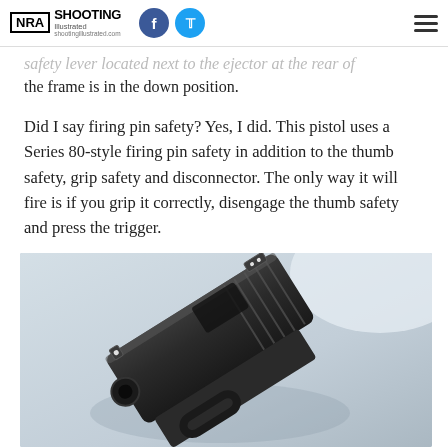NRA SHOOTING Illustrated shootingillustrated.com — with Facebook and Twitter social icons and hamburger menu
safety lever located next to the ejector at the rear of the frame is in the down position.
Did I say firing pin safety? Yes, I did. This pistol uses a Series 80-style firing pin safety in addition to the thumb safety, grip safety and disconnector. The only way it will fire is if you grip it correctly, disengage the thumb safety and press the trigger.
[Figure (photo): Close-up photograph of a black pistol slide and muzzle end, viewed from above at an angle, showing the front and rear sights. The background is a light blue-grey surface.]